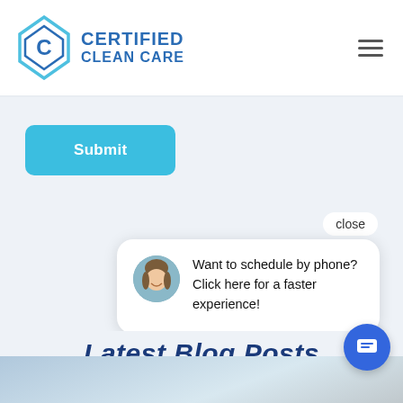[Figure (logo): Certified Clean Care logo with diamond/chevron icon and blue text]
CERTIFIED CLEAN CARE
[Figure (other): Submit button (blue rounded rectangle)]
[Figure (other): Chat popup with avatar and text: Want to schedule by phone? Click here for a faster experience!]
Latest Blog Posts
[Figure (photo): Photo of person sitting, partially visible at bottom of page]
[Figure (other): Blue circular chat icon button at bottom right]